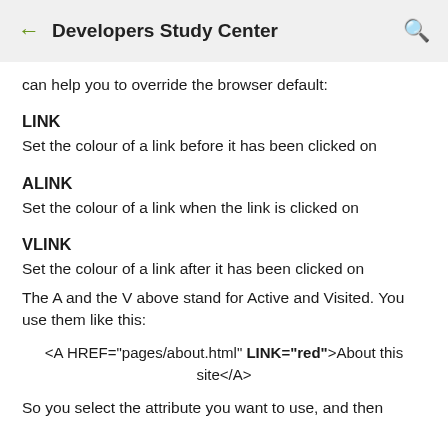← Developers Study Center 🔍
can help you to override the browser default:
LINK
Set the colour of a link before it has been clicked on
ALINK
Set the colour of a link when the link is clicked on
VLINK
Set the colour of a link after it has been clicked on
The A and the V above stand for Active and Visited. You use them like this:
<A HREF="pages/about.html" LINK="red">About this site</A>
So you select the attribute you want to use, and then